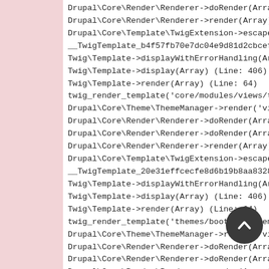Drupal\Core\Render\Renderer->doRender(Array, )
Drupal\Core\Render\Renderer->render(Array) (Lin
Drupal\Core\Template\TwigExtension->escapeFilte
__TwigTemplate_b4f57fb70e7dc04e9d81d2cbceff52a8
Twig\Template->displayWithErrorHandling(Array,
Twig\Template->display(Array) (Line: 406)
Twig\Template->render(Array) (Line: 64)
twig_render_template('core/modules/views/templa
Drupal\Core\Theme\ThemeManager->render('views_v
Drupal\Core\Render\Renderer->doRender(Array) (L
Drupal\Core\Render\Renderer->doRender(Array, )
Drupal\Core\Render\Renderer->render(Array) (Lin
Drupal\Core\Template\TwigExtension->escapeFilte
__TwigTemplate_20e31effcecfe8d6b19b8aa8328b0a5b
Twig\Template->displayWithErrorHandling(Array,
Twig\Template->display(Array) (Line: 406)
Twig\Template->render(Array) (Line: 64)
twig_render_template('themes/bootstrap/template
Drupal\Core\Theme\ThemeManager->render('views_v
Drupal\Core\Render\Renderer->doRender(Array) (L
Drupal\Core\Render\Renderer->doRender(Array, )
Drupal\Core\Render\Renderer->render(Array) (Lin
Drupal\Core\Template\TwigExtension->escapeFilte
__TwigTemplate_7b51e3261af4a4576a3d73267986c396
Twig\Template->displayBlock('content', Array,